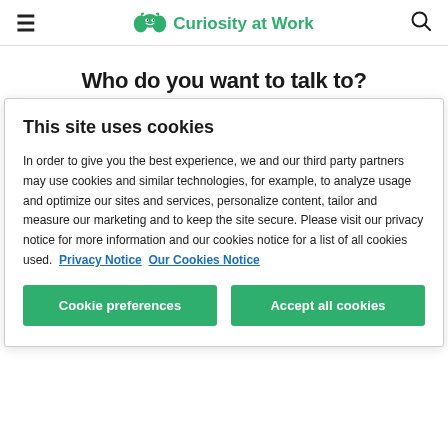≡  Curiosity at Work  🔍
Who do you want to talk to?
All   Customers   Market   Employees
This site uses cookies
In order to give you the best experience, we and our third party partners may use cookies and similar technologies, for example, to analyze usage and optimize our sites and services, personalize content, tailor and measure our marketing and to keep the site secure. Please visit our privacy notice for more information and our cookies notice for a list of all cookies used.  Privacy Notice  Our Cookies Notice
Cookie preferences   Accept all cookies